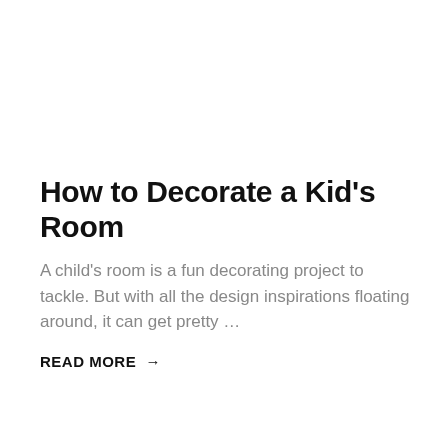How to Decorate a Kid's Room
A child's room is a fun decorating project to tackle. But with all the design inspirations floating around, it can get pretty …
READ MORE →